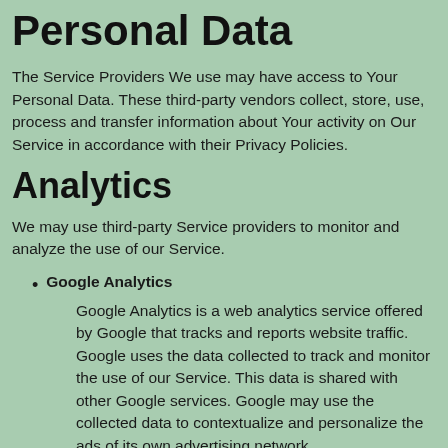Personal Data
The Service Providers We use may have access to Your Personal Data. These third-party vendors collect, store, use, process and transfer information about Your activity on Our Service in accordance with their Privacy Policies.
Analytics
We may use third-party Service providers to monitor and analyze the use of our Service.
Google Analytics
Google Analytics is a web analytics service offered by Google that tracks and reports website traffic. Google uses the data collected to track and monitor the use of our Service. This data is shared with other Google services. Google may use the collected data to contextualize and personalize the ads of its own advertising network.
You can opt-out of having made your activity on the Service available to Google Analytics by installing the Google Analytics opt-out browser add-on. The add-on prevents the Google